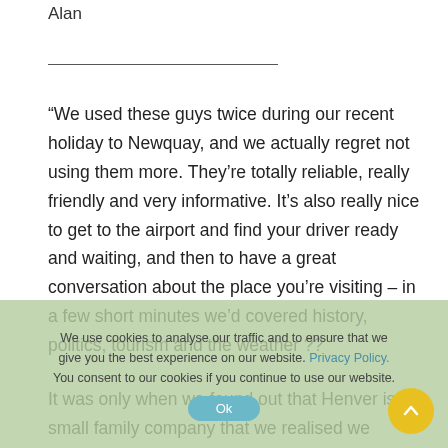Alan
“We used these guys twice during our recent holiday to Newquay, and we actually regret not using them more. They’re totally reliable, really friendly and very informative. It’s also really nice to get to the airport and find your driver ready and waiting, and then to have a great conversation about the place you’re visiting – in a few short minutes we’d covered history, politics, tourism and the weather ??
It was only when we found out that Henver is a small family company that we realised we should have used more of their service...
We use cookies to analyse our traffic and to ensure that we give you the best experience on our website. Privacy Policy. You consent to our cookies if you continue to use our website.